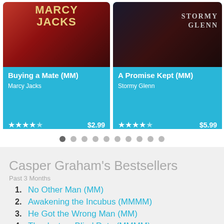[Figure (screenshot): Two book cards in a carousel. Left card: 'Buying a Mate (MM)' by Marcy Jacks, 4.5 stars, $2.99. Right card: 'A Promise Kept (MM)' by Stormy Glenn, 4.5 stars, $5.99. Both have cyan/blue backgrounds with book cover images.]
[Figure (other): Pagination dots row: 10 dots, first one darker (active), rest light gray.]
Casper Graham's Bestsellers
Past 3 Months
1. No Other Man (MM)
2. Awakening the Incubus (MMMM)
3. He Got the Wrong Man (MM)
4. Thanks to a Blind Date (MMMM)
5. An Unlikely Beginning (MM)